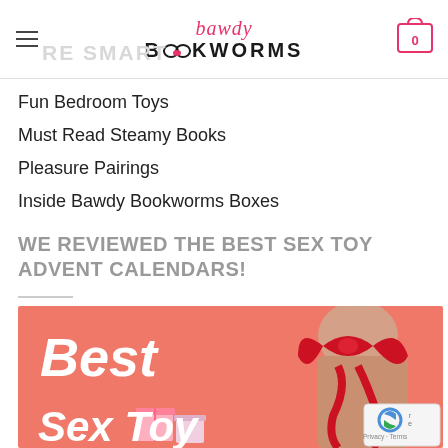bawdy BOOKWORMS
Fun Bedroom Toys
Must Read Steamy Books
Pleasure Pairings
Inside Bawdy Bookworms Boxes
WE REVIEWED THE BEST SEX TOY ADVENT CALENDARS!
[Figure (photo): Promotional image with coral/salmon pink background showing person wrapped in red ribbon with text 'Best Sex Toy' in white italic bold font and gift boxes. reCAPTCHA badge in bottom right corner.]